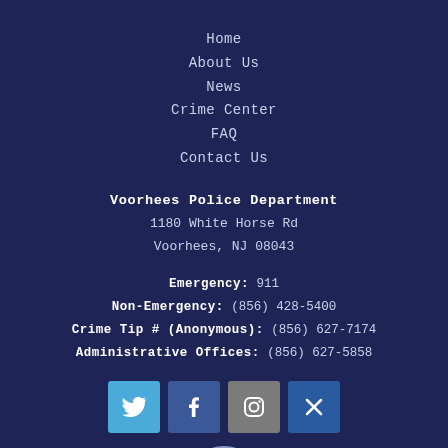Home
About Us
News
Crime Center
FAQ
Contact Us
Voorhees Police Department
1180 White Horse Rd
Voorhees, NJ 08043
Emergency: 911
Non-Emergency: (856) 428-5400
Crime Tip # (Anonymous): (856) 627-7174
Administrative Offices: (856) 627-5858
[Figure (infographic): Social media icons row: Twitter (light blue), Facebook (dark blue), Instagram (gray), X/Mixcloud (dark blue)]
[Figure (logo): Voorhees Police Department circular logo, partially visible at bottom]